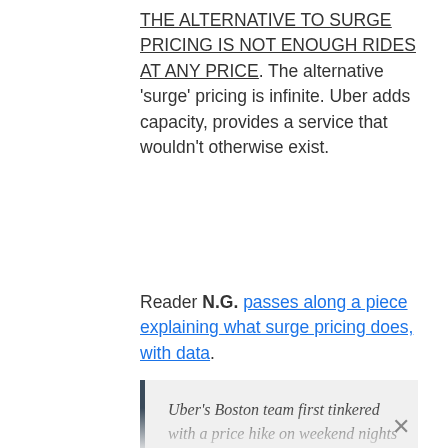THE ALTERNATIVE TO SURGE PRICING IS NOT ENOUGH RIDES AT ANY PRICE. The alternative 'surge' pricing is infinite. Uber adds capacity, provides a service that wouldn't otherwise exist.
Reader N.G. passes along a piece explaining what surge pricing does, with data.
Uber's Boston team first tinkered with a price hike on weekend nights around 1 a.m., when drivers tended to clock out just as the city's public transit system approached closing time, a situation that created lots of demand for Uber cars.